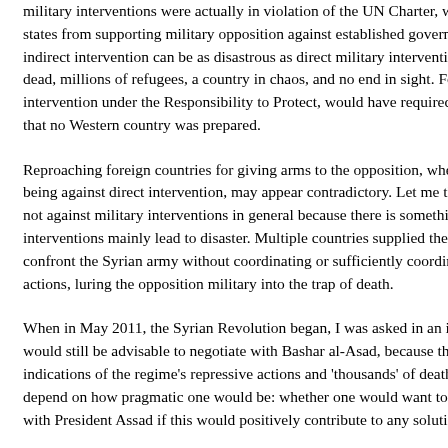military interventions were actually in vi... member states from supporting military... governments.[4] The results of indirect... disastrous as direct military intervention... dead, millions of refugees, a country in... Foreign military intervention under the R2P... Protect, would have required a multi-ye... Western country was prepared.
Reproaching foreign countries for givin... whereas simultaneously being against... contradictory. Let me therefore clarify w... interventions in general because there... interventions mainly lead to disaster. M... military opposition to confront the Syria... sufficiently coordinating their militarily a... opposition military into the trap of death...
When in May 2011, the Syrian Revoluti... an interview, whether it would still be ad... Bashar al-Asad, because there were al... regime's repressive actions and 'thous... would depend on how pragmatic one w... want to talk to or communicate with Pre... positively contribute to any solution.[5]